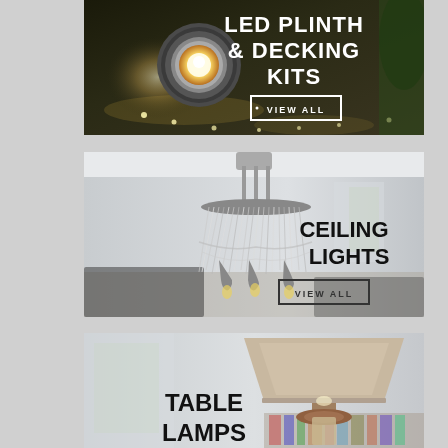[Figure (photo): LED plinth and decking kits promotional banner showing an outdoor LED light fixture embedded in decking with lit pathway in the background. Text reads 'LED PLINTH & DECKING KITS' with a 'VIEW ALL' button.]
[Figure (photo): Ceiling lights promotional banner showing an ornate crystal chandelier in a living room. Text reads 'CEILING LIGHTS' with a 'VIEW ALL' button.]
[Figure (photo): Table lamps promotional banner showing a table lamp with a grey shade in a living room. Text reads 'TABLE LAMPS'.]